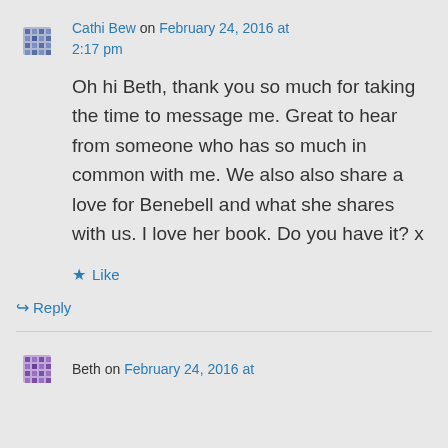Cathi Bew on February 24, 2016 at 2:17 pm
Oh hi Beth, thank you so much for taking the time to message me. Great to hear from someone who has so much in common with me. We also also share a love for Benebell and what she shares with us. I love her book. Do you have it? x
Like
Reply
Beth on February 24, 2016 at